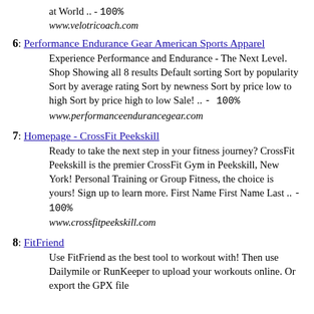at World .. - 100%
www.velotricoach.com
6: Performance Endurance Gear American Sports Apparel
Experience Performance and Endurance - The Next Level. Shop Showing all 8 results Default sorting Sort by popularity Sort by average rating Sort by newness Sort by price low to high Sort by price high to low Sale! .. - 100%
www.performanceendurancegear.com
7: Homepage - CrossFit Peekskill
Ready to take the next step in your fitness journey? CrossFit Peekskill is the premier CrossFit Gym in Peekskill, New York! Personal Training or Group Fitness, the choice is yours! Sign up to learn more. First Name First Name Last .. - 100%
www.crossfitpeekskill.com
8: FitFriend
Use FitFriend as the best tool to workout with! Then use Dailymile or RunKeeper to upload your workouts online. Or export the GPX file